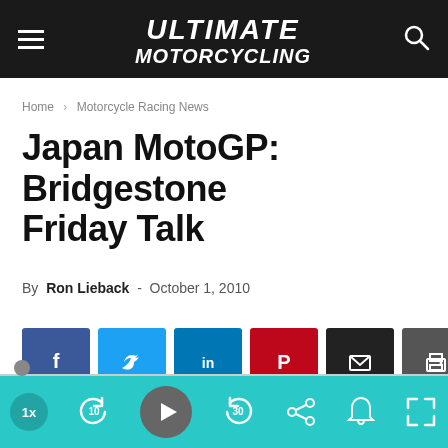Ultimate Motorcycling
Home › Motorcycle Racing News
Japan MotoGP: Bridgestone Friday Talk
By Ron Lieback - October 1, 2010
[Figure (infographic): Social sharing buttons: Facebook, Twitter, LinkedIn, Pinterest, Email, Print]
[Figure (photo): Strip of 5 motorcycle racing thumbnail photos from Japan MotoGP]
[Figure (infographic): Media player control bar with teal background, speed, skip-back, play, skip-forward, share, notification, and fullscreen buttons]